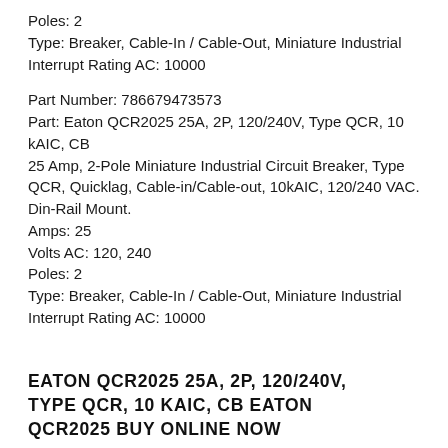Poles: 2
Type: Breaker, Cable-In / Cable-Out, Miniature Industrial
Interrupt Rating AC: 10000
Part Number: 786679473573
Part: Eaton QCR2025 25A, 2P, 120/240V, Type QCR, 10 kAIC, CB
25 Amp, 2-Pole Miniature Industrial Circuit Breaker, Type QCR, Quicklag, Cable-in/Cable-out, 10kAIC, 120/240 VAC. Din-Rail Mount.
Amps: 25
Volts AC: 120, 240
Poles: 2
Type: Breaker, Cable-In / Cable-Out, Miniature Industrial
Interrupt Rating AC: 10000
EATON QCR2025 25A, 2P, 120/240V, TYPE QCR, 10 KAIC, CB EATON QCR2025 BUY ONLINE NOW